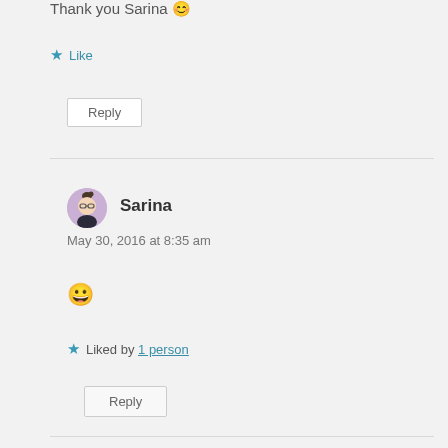Thank you Sarina 😊
★ Like
Reply
Sarina
May 30, 2016 at 8:35 am
🙂
★ Liked by 1 person
Reply